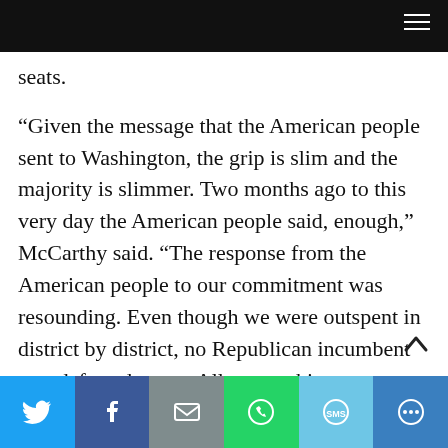[Navigation bar with hamburger menu]
seats.
“Given the message that the American people sent to Washington, the grip is slim and the majority is slimmer. Two months ago to this very day the American people said, enough,” McCarthy said. “The response from the American people to our commitment was resounding. Even though we were outspent in district by district, no Republican incumbent was defeated. none. All across this country voters endorsed commonsense, not conflict. It was a referendum against a radical agenda to defund the police and punish hard work. It was a
Share bar: Twitter, Facebook, Email, WhatsApp, SMS, More